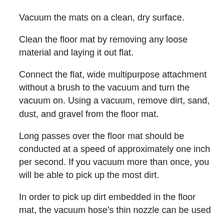Vacuum the mats on a clean, dry surface.
Clean the floor mat by removing any loose material and laying it out flat.
Connect the flat, wide multipurpose attachment without a brush to the vacuum and turn the vacuum on. Using a vacuum, remove dirt, sand, dust, and gravel from the floor mat.
Long passes over the floor mat should be conducted at a speed of approximately one inch per second. If you vacuum more than once, you will be able to pick up the most dirt.
In order to pick up dirt embedded in the floor mat, the vacuum hose's thin nozzle can be used